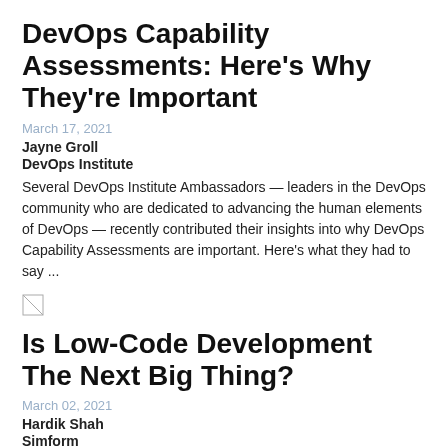DevOps Capability Assessments: Here's Why They're Important
March 17, 2021
Jayne Groll
DevOps Institute
Several DevOps Institute Ambassadors — leaders in the DevOps community who are dedicated to advancing the human elements of DevOps — recently contributed their insights into why DevOps Capability Assessments are important. Here's what they had to say ...
[Figure (other): Broken image placeholder]
Is Low-Code Development The Next Big Thing?
March 02, 2021
Hardik Shah
Simform
According to predictions made by Gartner, by 2024, low code development will be responsible for more than 65% of application development activity. This blog will help you understand what the buzz is all about. Let's find out what low code development is and how it can be the next big thing in the software development industry ...
[Figure (other): Broken image placeholder (partial)]